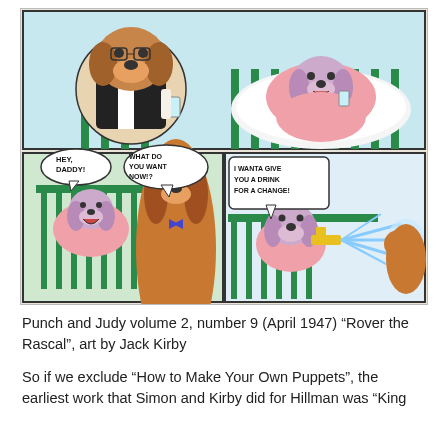[Figure (illustration): Comic strip panels from Punch and Judy volume 2, number 9 (April 1947), 'Rover the Rascal', art by Jack Kirby. Shows cartoon dog characters in a crib/baby setting. Top panel: adult dog in tuxedo offers drink to puppy in pink pajamas in a crib. Bottom left panel: puppy in crib says 'HEY, DADDY!' and dog asks 'WHAT DO YOU WANT NOW!?' Bottom right panel: dog with speech bubble 'I WANTA GIVE YOU A DRINK FOR A CHANGE!' shoots water gun at adult dog.]
Punch and Judy volume 2, number 9 (April 1947) “Rover the Rascal”, art by Jack Kirby
So if we exclude “How to Make Your Own Puppets”, the earliest work that Simon and Kirby did for Hillman was “King